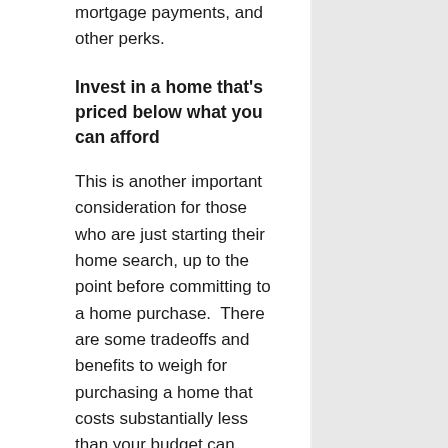your property, lower monthly mortgage payments, and other perks.
Invest in a home that's priced below what you can afford
This is another important consideration for those who are just starting their home search, up to the point before committing to a home purchase.  There are some tradeoffs and benefits to weigh for purchasing a home that costs substantially less than your budget can afford. Buying a home that costs substantially less than the upper limit of your budget will ease the pinch of making that larger-than-standard down payment,